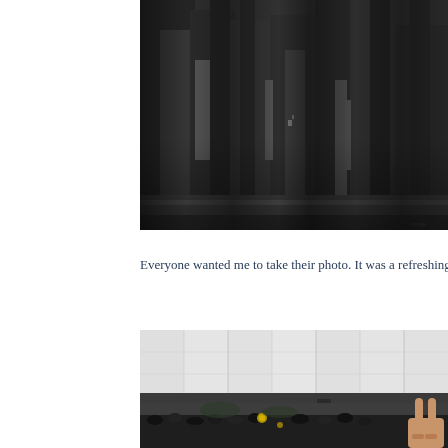[Figure (photo): Black and white photograph showing people's lower bodies and legs, cropped at the waist, appears to be a crowd scene]
Everyone wanted me to take their photo. It was a refreshing departur
[Figure (photo): Color photograph of a building with large white/light grey wall panels in the upper portion, a canopy or overhang, a crowd of people gathered below, and a hand making a peace sign visible in the lower right]